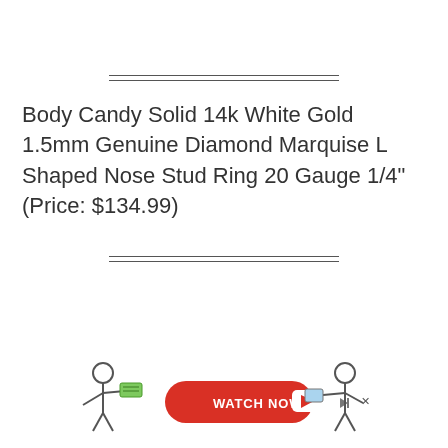Body Candy Solid 14k White Gold 1.5mm Genuine Diamond Marquise L Shaped Nose Stud Ring 20 Gauge 1/4" (Price: $134.99)
[Figure (other): Advertisement banner with red WATCH NOW button, YouTube play icon, skip/close controls (triangular skip arrow and X), and two illustrated stick figures on either side — one holding cash on the left and one holding a device on the right.]